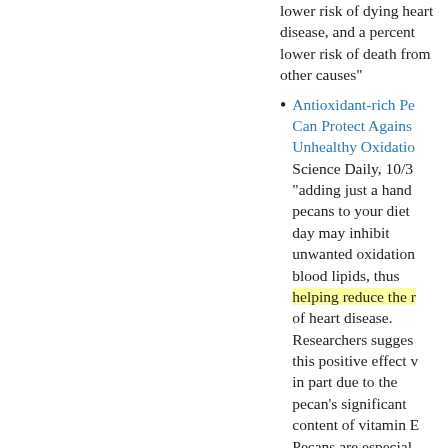lower risk of dying heart disease, and a percent lower risk of death from other causes"
Antioxidant-rich Pecans Can Protect Against Unhealthy Oxidation, Science Daily, 10/3 "adding just a handful of pecans to your diet each day may inhibit unwanted oxidation of blood lipids, thus helping reduce the risk of heart disease. Researchers suggest this positive effect was in part due to the pecan's significant content of vitamin E. Pecans are especially rich in one form of vitamin E -- gamma-tocopherol"
What Makes Gamma...